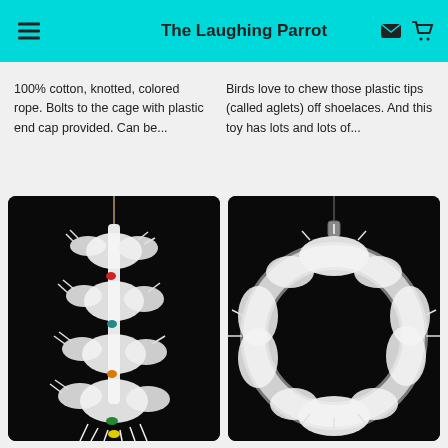The Laughing Parrot
100% cotton, knotted, colored rope. Bolts to the cage with plastic end cap provided. Can be...
Birds love to chew those plastic tips (called aglets) off shoelaces. And this toy has lots and lots of...
[Figure (photo): White fluffy knotted cotton rope bird toy hanging against a black background, with colorful aglets visible]
[Figure (photo): Close-up of white fluffy cotton rope bird toy in a ring/wreath shape hanging against black background]